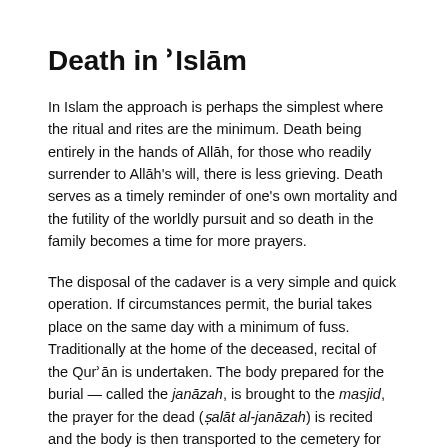Death in ʾIslām
In Islam the approach is perhaps the simplest where the ritual and rites are the minimum. Death being entirely in the hands of Allāh, for those who readily surrender to Allāh's will, there is less grieving. Death serves as a timely reminder of one's own mortality and the futility of the worldly pursuit and so death in the family becomes a time for more prayers.
The disposal of the cadaver is a very simple and quick operation. If circumstances permit, the burial takes place on the same day with a minimum of fuss. Traditionally at the home of the deceased, recital of the Qurʾān is undertaken. The body prepared for the burial — called the janāzah, is brought to the masjid, the prayer for the dead (ṣalāt al-janāzah) is recited and the body is then transported to the cemetery for the burial. There are no eulogies